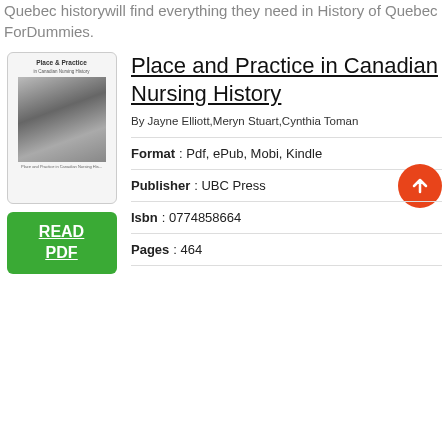Quebec historywill find everything they need in History of Quebec ForDummies.
[Figure (illustration): Book cover of 'Place & Practice in Canadian Nursing History' showing a black and white photo of nurses]
READ PDF
Place and Practice in Canadian Nursing History
By Jayne Elliott,Meryn Stuart,Cynthia Toman
Format : Pdf, ePub, Mobi, Kindle
Publisher : UBC Press
Isbn : 0774858664
Pages : 464